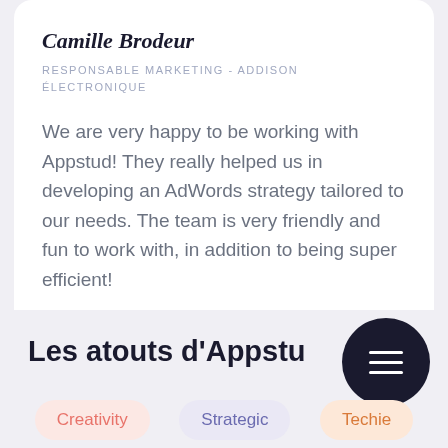Camille Brodeur
RESPONSABLE MARKETING - ADDISON ÉLECTRONIQUE
We are very happy to be working with Appstud! They really helped us in developing an AdWords strategy tailored to our needs. The team is very friendly and fun to work with, in addition to being super efficient!
Les atouts d'Appstu
Creativity
Strategic
Techie